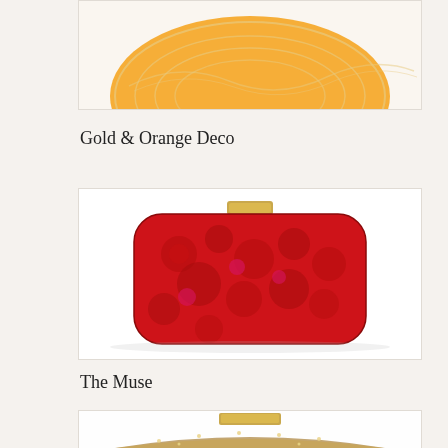[Figure (photo): Top portion of an orange and gold decorative clutch bag with swirling patterns, partially cropped at the top of the page]
Gold & Orange Deco
[Figure (photo): A red lace clutch bag with floral lace pattern overlay on a pink/magenta base, rectangular with rounded corners and a gold clasp at the top center]
The Muse
[Figure (photo): Bottom portion of a gold/bronze sequined or metallic clutch bag, partially cropped at the bottom of the page]